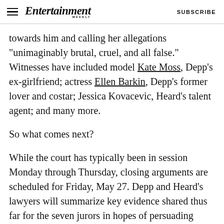Entertainment Weekly — SUBSCRIBE
towards him and calling her allegations "unimaginably brutal, cruel, and all false." Witnesses have included model Kate Moss, Depp's ex-girlfriend; actress Ellen Barkin, Depp's former lover and costar; Jessica Kovacevic, Heard's talent agent; and many more.
So what comes next?
While the court has typically been in session Monday through Thursday, closing arguments are scheduled for Friday, May 27. Depp and Heard's lawyers will summarize key evidence shared thus far for the seven jurors in hopes of persuading them to reach a verdict in their favor